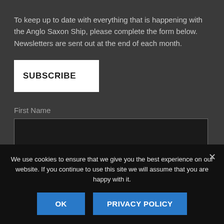To keep up to date with everything that is happening with the Anglo Saxon Ship, please complete the form below. Newsletters are sent out at the end of each month.
SUBSCRIBE
First Name
Last Name
We use cookies to ensure that we give you the best experience on our website. If you continue to use this site we will assume that you are happy with it.
OK
PRIVACY POLICY